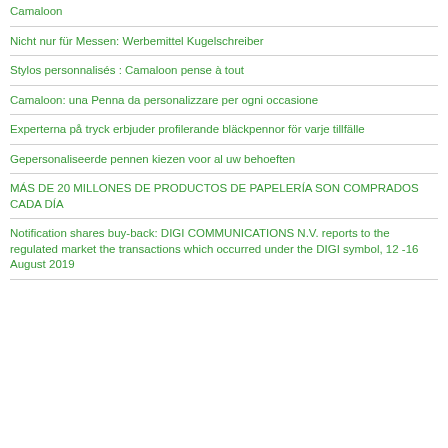Camaloon
Nicht nur für Messen: Werbemittel Kugelschreiber
Stylos personnalisés : Camaloon pense à tout
Camaloon: una Penna da personalizzare per ogni occasione
Experterna på tryck erbjuder profilerande bläckpennor för varje tillfälle
Gepersonaliseerde pennen kiezen voor al uw behoeften
MÁS DE 20 MILLONES DE PRODUCTOS DE PAPELERÍA SON COMPRADOS CADA DÍA
Notification shares buy-back: DIGI COMMUNICATIONS N.V. reports to the regulated market the transactions which occurred under the DIGI symbol, 12 -16 August 2019